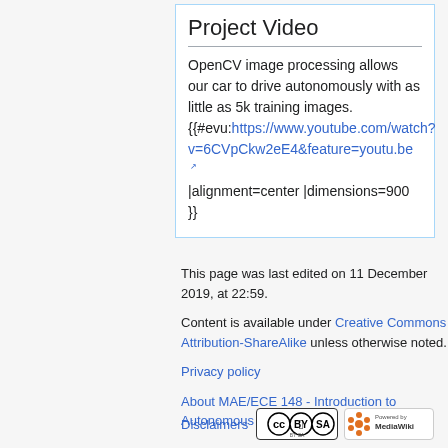Project Video
OpenCV image processing allows our car to drive autonomously with as little as 5k training images. {{#evu:https://www.youtube.com/watch?v=6CVpCkw2eE4&feature=youtu.be |alignment=center |dimensions=900 }}
This page was last edited on 11 December 2019, at 22:59.
Content is available under Creative Commons Attribution-ShareAlike unless otherwise noted.
Privacy policy
About MAE/ECE 148 - Introduction to Autonomous Vehicles
Disclaimers